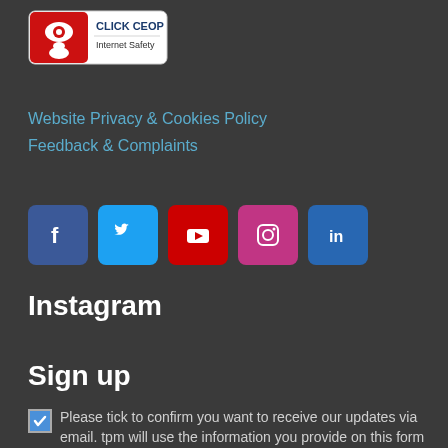[Figure (logo): CLICK CEOP Internet Safety logo — red and white badge with eye symbol]
Website Privacy & Cookies Policy
Feedback & Complaints
[Figure (infographic): Row of five social media icon buttons: Facebook (dark blue), Twitter (light blue), YouTube (red), Instagram (purple/magenta), LinkedIn (blue)]
Instagram
Sign up
Please tick to confirm you want to receive our updates via email. tpm will use the information you provide on this form